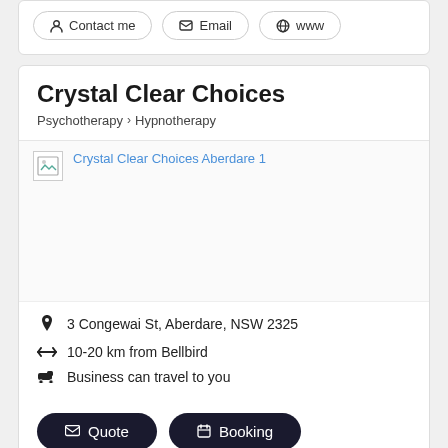Contact me | Email | www
Crystal Clear Choices
Psychotherapy > Hypnotherapy
[Figure (photo): Broken image placeholder with link text 'Crystal Clear Choices Aberdare 1']
3 Congewai St, Aberdare, NSW 2325
10-20 km from Bellbird
Business can travel to you
Quote
Booking